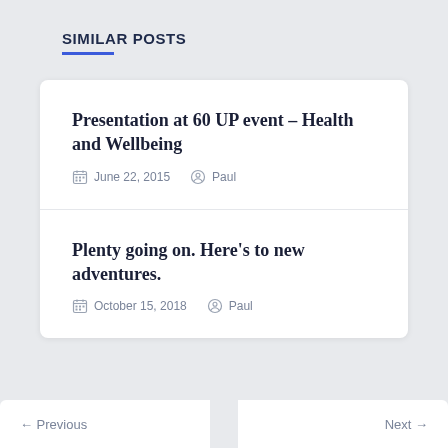SIMILAR POSTS
Presentation at 60 UP event – Health and Wellbeing
June 22, 2015   Paul
Plenty going on. Here's to new adventures.
October 15, 2018   Paul
← Previous
Next →